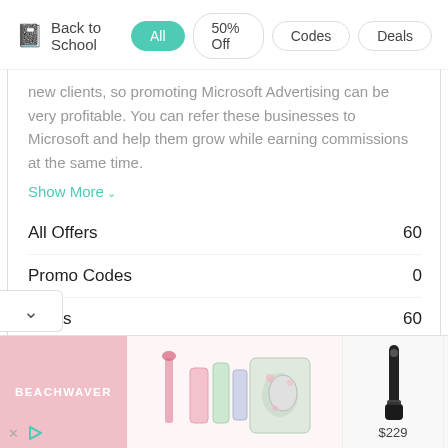Back to School | All | 50% Off | Codes | Deals
new clients, so promoting Microsoft Advertising can be very profitable. You can refer these businesses to Microsoft and help them grow while earning commissions at the same time.
Show More
|  |  |
| --- | --- |
| All Offers | 60 |
| Promo Codes | 0 |
| Deals | 60 |
| Free Shipping | 39 |
| Best Discount | 85% OFF |
| Average Discount | 29% OFF |
[Figure (photo): Advertisement banner showing Beachwaver brand products including hair styling tools. Left: pink Beachwaver logo panel. Center: pink hair styling product set with bottles and accessories. Right two panels: black curling wand ($229) and pink/purple curling wand ($95).]